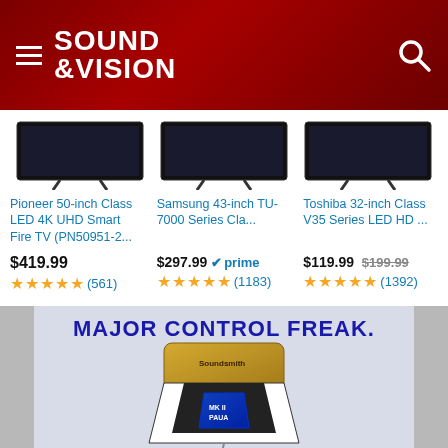SOUND &VISION
[Figure (screenshot): Three TV product listings from Amazon: Pioneer 50-inch Class LED 4K UHD Smart Fire TV (PN50951-2...) at $419.99 with 4.5 stars (561 reviews); Samsung 43-inch TU-7000 Series Cla... at $297.99 with Prime badge, 4.5 stars (1183 reviews); Toshiba 32-inch Class V35 Series LED HD at $119.99 (was $199.99), 4.5 stars (1392 reviews). Ads by Amazon label at bottom right.]
[Figure (photo): Advertisement banner showing text 'MAJOR CONTROL FREAK.' in bold blue text on a light blue/gray background, with an image of a Soundsmith MK II Paua phono cartridge below.]